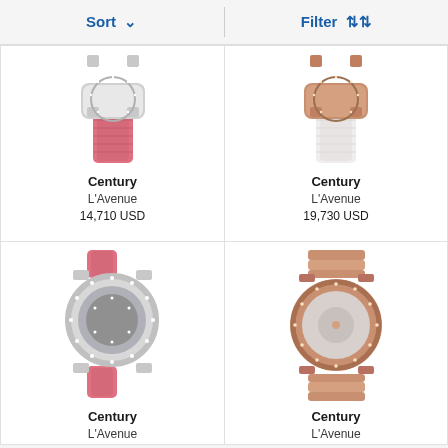Sort ∨   Filter ↑↓↑
[Figure (photo): Century L'Avenue watch with pink leather strap, top portion cropped, silver diamond case]
Century
L'Avenue
14,710 USD
[Figure (photo): Century L'Avenue watch with white leather strap, top portion cropped, rose gold diamond case]
Century
L'Avenue
19,730 USD
[Figure (photo): Century L'Avenue watch with pink crocodile leather strap, full view, silver diamond bezel pavé dial]
Century
L'Avenue
[Figure (photo): Century L'Avenue watch with rose gold bracelet, full view, rose gold diamond bezel mother-of-pearl dial]
Century
L'Avenue